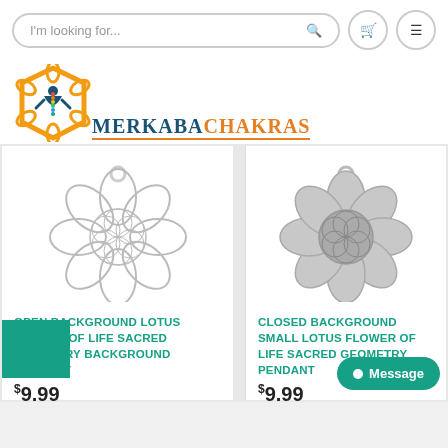I'm looking for...
[Figure (logo): Merkaba Chakras logo with orange mandala and blue meditating figure with chakra colors]
MERKABA CHAKRAS
[Figure (photo): Silver open background lotus flower of life sacred geometry pendant charm]
OPEN BACKGROUND LOTUS FLOWER OF LIFE SACRED GEOMETRY BACKGROUND PENDANT
$9.99
[Figure (photo): Silver closed background small lotus flower of life sacred geometry pendant charm]
CLOSED BACKGROUND SMALL LOTUS FLOWER OF LIFE SACRED GEOMETRY PENDANT
$9.99
Message